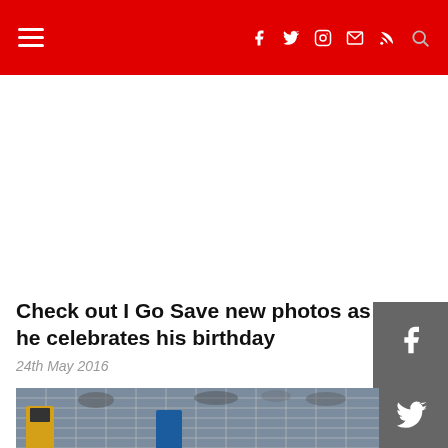Navigation bar with hamburger menu, social icons (Facebook, Twitter, Instagram, Email, RSS), and search icon
Check out I Go Save new photos as he celebrates his birthday
24th May 2016
[Figure (photo): Soccer/football players near a goal net with crowd in background; player in yellow jersey with number visible]